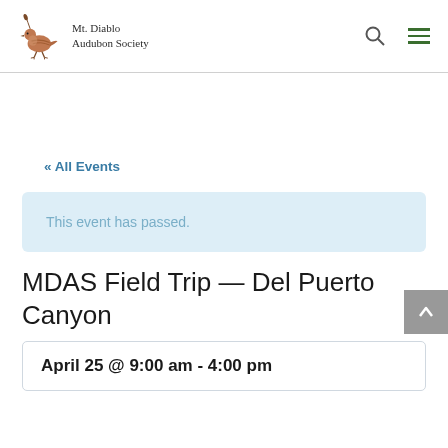Mt. Diablo Audubon Society
« All Events
This event has passed.
MDAS Field Trip — Del Puerto Canyon
April 25 @ 9:00 am - 4:00 pm